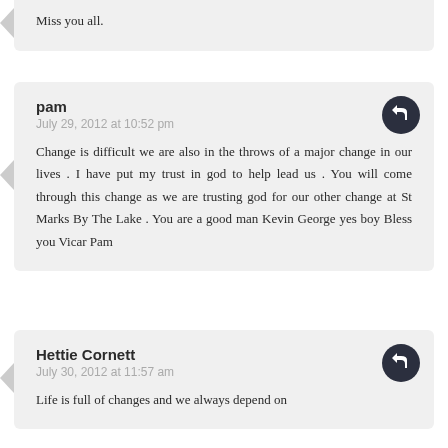Miss you all.
pam
July 29, 2012 at 10:52 pm
Change is difficult we are also in the throws of a major change in our lives . I have put my trust in god to help lead us . You will come through this change as we are trusting god for our other change at St Marks By The Lake . You are a good man Kevin George yes boy Bless you Vicar Pam
Hettie Cornett
July 30, 2012 at 11:57 am
Life is full of changes and we always depend on